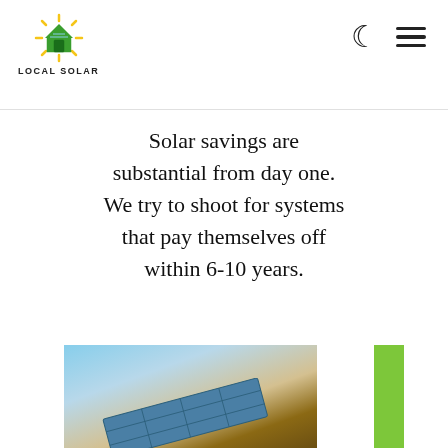LOCAL SOLAR
Solar savings are substantial from day one. We try to shoot for systems that pay themselves off within 6-10 years.
[Figure (photo): Photo of solar panels installed on a rooftop against a sky background, with a green accent bar on the right side]